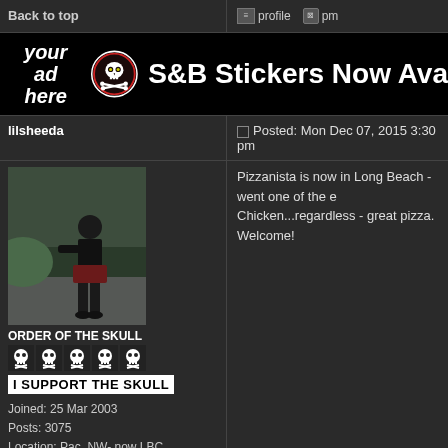Back to top | profile | pm
[Figure (screenshot): Forum banner ad showing 'your ad here', skull logo, and 'S&B Stickers Now Ava...' text on black background]
lilsheeda | Posted: Mon Dec 07, 2015 3:30 pm
[Figure (photo): Profile photo of a person standing outdoors in dark clothing. User rank: ORDER OF THE SKULL. I SUPPORT THE SKULL banner. Joined: 25 Mar 2003. Posts: 3075. Location: Pac. NW- now LBC]
Pizzanista is now in Long Beach - went one of the e Chicken...regardless - great pizza. Welcome!
Back to top | profile | pm | yim | msnm
teto10 | Posted: Thu Oct 28, 2021 10:17 am
Joined: 28 Oct 2021
Posts: 1
In New York las pizzas se encuentran en https://nic city/re...e/pizza_delivery/